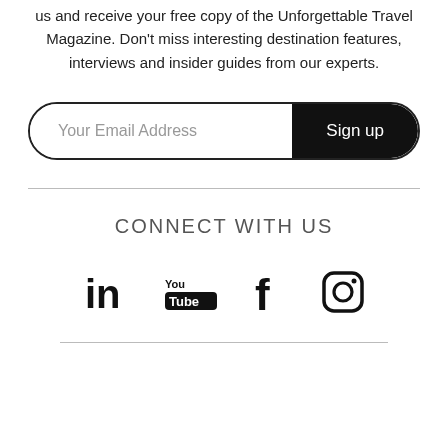Sign up to our emails for $100 off your first trip with us and receive your free copy of the Unforgettable Travel Magazine. Don't miss interesting destination features, interviews and insider guides from our experts.
[Figure (other): Email signup form with text input field labeled 'Your Email Address' and a black rounded 'Sign up' button]
CONNECT WITH US
[Figure (other): Social media icons: LinkedIn, YouTube, Facebook, Instagram]